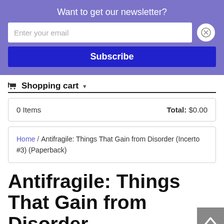Want to get our newsletter?
Enter your email
Subscribe
🛒 Shopping cart ▼
| Items | Total |
| --- | --- |
| 0 Items | Total: $0.00 |
Home / Antifragile: Things That Gain from Disorder (Incerto #3) (Paperback)
Antifragile: Things That Gain from Disorder